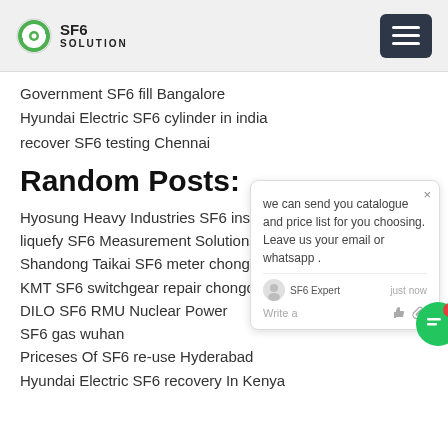SF6 SOLUTION
Government SF6 fill Bangalore
Hyundai Electric SF6 cylinder in india
recover SF6 testing Chennai
Random Posts:
Hyosung Heavy Industries SF6 inspection
liquefy SF6 Measurement Solutions in m
Shandong Taikai SF6 meter chongqing
KMT SF6 switchgear repair chongqing
DILO SF6 RMU Nuclear Power
SF6 gas wuhan
Priceses Of SF6 re-use Hyderabad
Hyundai Electric SF6 recovery In Kenya